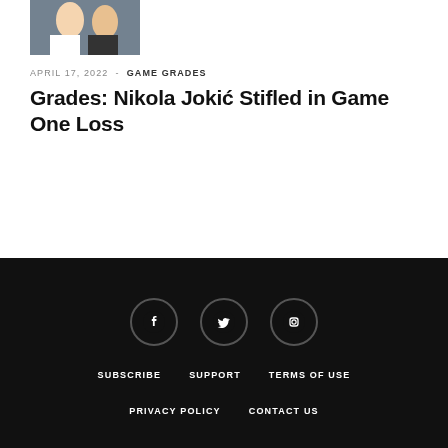[Figure (photo): Basketball game action photo, cropped at top of page]
APRIL 17, 2022  -  GAME GRADES
Grades: Nikola Jokić Stifled in Game One Loss
SUBSCRIBE   SUPPORT   TERMS OF USE   PRIVACY POLICY   CONTACT US